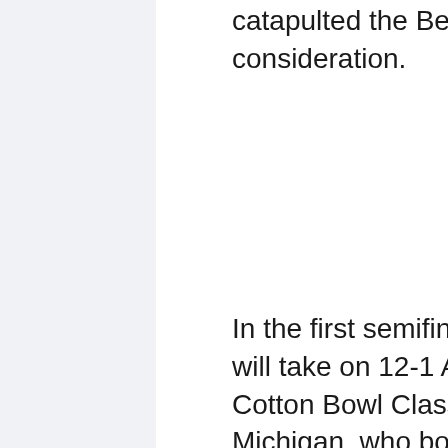catapulted the Bearcats into CFP consideration.
In the first semifinal game, Cincinnati will take on 12-1 Alabama in the Cotton Bowl Classic while Georgia and Michigan, who both completed their seasons at 12-1,